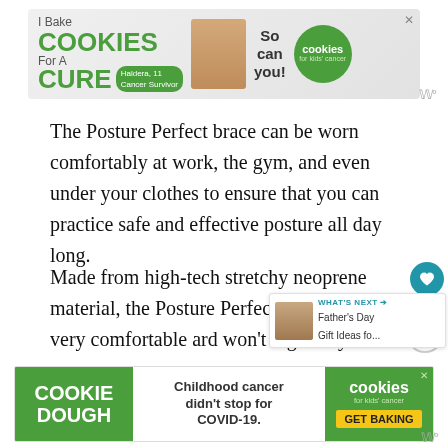[Figure (other): Advertisement banner: 'I Bake COOKIES For A CURE' with Haldera, 11 Cancer Survivor and cookies for kids cancer logo. So can you!]
The Posture Perfect brace can be worn comfortably at work, the gym, and even under your clothes to ensure that you can practice safe and effective posture all day long.
Made from high-tech stretchy neoprene material, the Posture Perfect device is very comfortable and won't dig into your shoulders or ribs. Just adjust to fit perfectly and allow it to do the rest over the course of the day!
[Figure (other): Advertisement banner: COOKIE DOUGH. Childhood cancer didn't stop for COVID-19. cookies for kids cancer. GET BAKING]